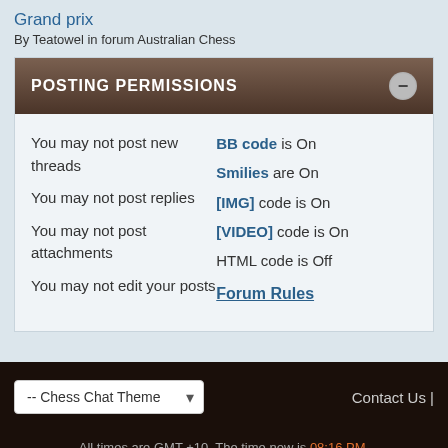Grand prix
By Teatowel in forum Australian Chess
POSTING PERMISSIONS
You may not post new threads
You may not post replies
You may not post attachments
You may not edit your posts
BB code is On
Smilies are On
[IMG] code is On
[VIDEO] code is On
HTML code is Off
Forum Rules
-- Chess Chat Theme | Contact Us | All times are GMT +10. The time now is 08:16 PM. Powered by vBulletin® Version 4.2.5 Copyright © 2022 vBulletin Solutions Inc. All rights reserved.